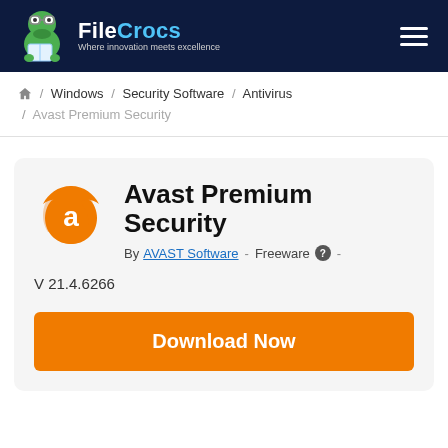FileCrocs — Where innovation meets excellence
/ Windows / Security Software / Antivirus / Avast Premium Security
Avast Premium Security
By AVAST Software - Freeware - V 21.4.6266
Download Now